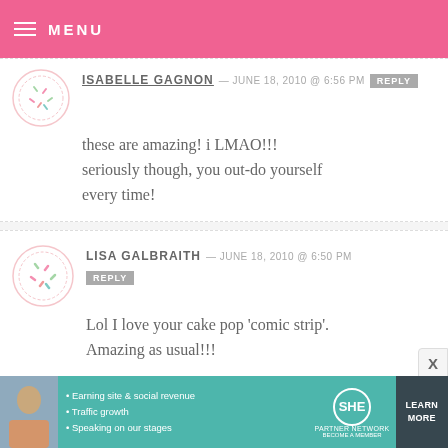MENU
ISABELLE GAGNON — JUNE 18, 2010 @ 6:56 PM  REPLY
these are amazing! i LMAO!!!
seriously though, you out-do yourself every time!
LISA GALBRAITH — JUNE 18, 2010 @ 6:50 PM  REPLY
Lol I love your cake pop 'comic strip'. Amazing as usual!!!
[Figure (infographic): SHE Partner Network advertisement banner with photo of woman, bullet points about earning site & social revenue, traffic growth, speaking on our stages, SHE logo, and Learn More button]